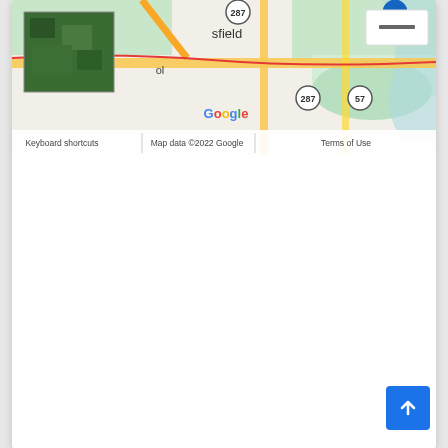[Figure (map): Google Maps screenshot showing Mansfield area with roads, route 287, route 57, route 45 marked. Includes a satellite photo inset in the top-left corner showing green terrain. Bottom bar shows: Keyboard shortcuts | Map data ©2022 Google | Terms of Use. A white box with a dark bar (zoom minus control) is visible top right.]